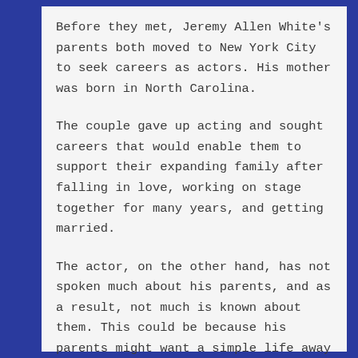Before they met, Jeremy Allen White's parents both moved to New York City to seek careers as actors. His mother was born in North Carolina.
The couple gave up acting and sought careers that would enable them to support their expanding family after falling in love, working on stage together for many years, and getting married.
The actor, on the other hand, has not spoken much about his parents, and as a result, not much is known about them. This could be because his parents might want a simple life away from the spotlight.